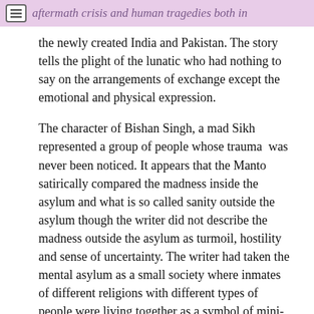aftermath crisis and human tragedies both in
the newly created India and Pakistan. The story tells the plight of the lunatic who had nothing to say on the arrangements of exchange except the emotional and physical expression.
The character of Bishan Singh, a mad Sikh represented a group of people whose trauma was never been noticed. It appears that the Manto satirically compared the madness inside the asylum and what is so called sanity outside the asylum though the writer did not describe the madness outside the asylum as turmoil, hostility and sense of uncertainty. The writer had taken the mental asylum as a small society where inmates of different religions with different types of people were living together as a symbol of mini-country.